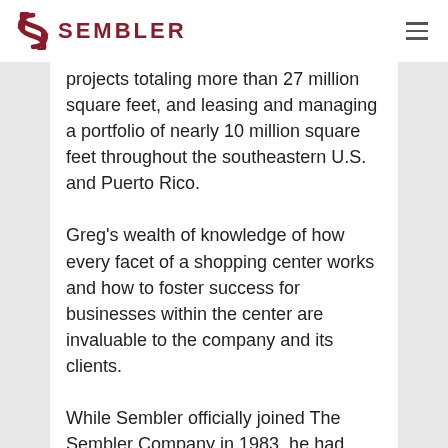SEMBLER
projects totaling more than 27 million square feet, and leasing and managing a portfolio of nearly 10 million square feet throughout the southeastern U.S. and Puerto Rico.
Greg's wealth of knowledge of how every facet of a shopping center works and how to foster success for businesses within the center are invaluable to the company and its clients.
While Sembler officially joined The Sembler Company in 1983, he had been listening to his father negotiate deals